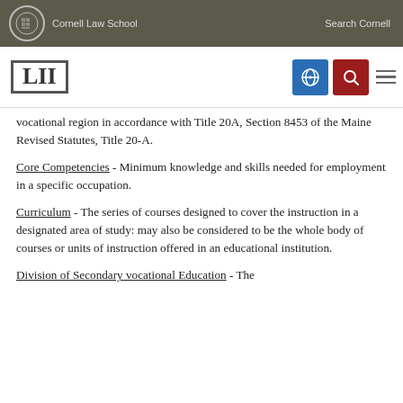Cornell Law School   Search Cornell
vocational region in accordance with Title 20A, Section 8453 of the Maine Revised Statutes, Title 20-A.
Core Competencies - Minimum knowledge and skills needed for employment in a specific occupation.
Curriculum - The series of courses designed to cover the instruction in a designated area of study: may also be considered to be the whole body of courses or units of instruction offered in an educational institution.
Division of Secondary vocational Education - The